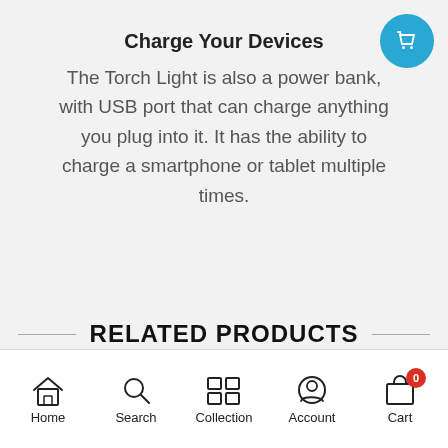[Figure (other): Blue circular shopping cart button in top right corner]
Charge Your Devices
The Torch Light is also a power bank, with USB port that can charge anything you plug into it. It has the ability to charge a smartphone or tablet multiple times.
RELATED PRODUCTS
Home  Search  Collection  Account  Cart 0